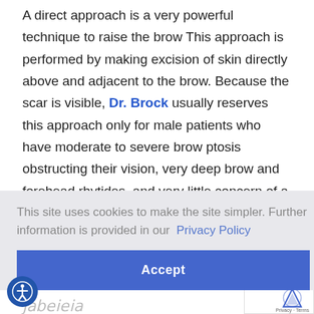A direct approach is a very powerful technique to raise the brow This approach is performed by making excision of skin directly above and adjacent to the brow. Because the scar is visible, Dr. Brock usually reserves this approach only for male patients who have moderate to severe brow ptosis obstructing their vision, very deep brow and forehead rhytides, and very little concern of a noticeable incision.
This site uses cookies to make the site simpler. Further information is provided in our Privacy Policy
Accept